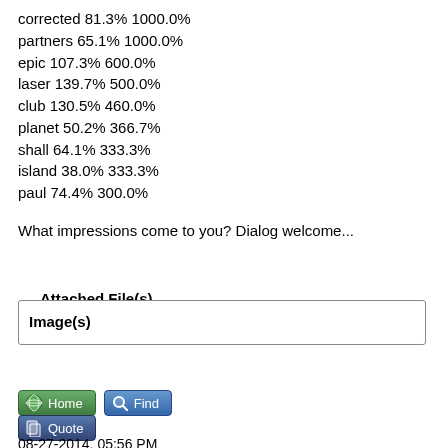corrected 81.3% 1000.0%
partners 65.1% 1000.0%
epic 107.3% 600.0%
laser 139.7% 500.0%
club 130.5% 460.0%
planet 50.2% 366.7%
shall 64.1% 333.3%
island 38.0% 333.3%
paul 74.4% 300.0%
What impressions come to you? Dialog welcome...
Attached File(s)
Image(s)
08-27-2014, 05:56 PM
Post: #2
Eagle1
NDC Elder
Posts: 427
Joined: Aug 2014